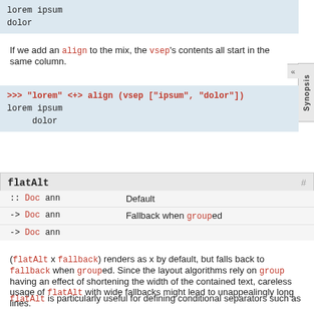[Figure (screenshot): Code block showing: lorem ipsum / dolor]
If we add an align to the mix, the vsep's contents all start in the same column.
[Figure (screenshot): REPL code block: >>> "lorem" <+> align (vsep ["ipsum", "dolor"]) / lorem ipsum /      dolor]
flatAlt
| Type signature | Description |
| --- | --- |
| :: Doc ann | Default |
| -> Doc ann | Fallback when grouped |
| -> Doc ann |  |
(flatAlt x fallback) renders as x by default, but falls back to fallback when grouped. Since the layout algorithms rely on group having an effect of shortening the width of the contained text, careless usage of flatAlt with wide fallbacks might lead to unappealingly long lines.
flatAlt is particularly useful for defining conditional separators such as